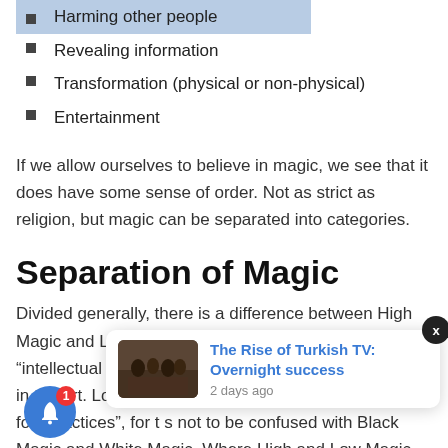Harming other people
Revealing information
Transformation (physical or non-physical)
Entertainment
If we allow ourselves to believe in magic, we see that it does have some sense of order. Not as strict as religion, but magic can be separated into categories.
Separation of Magic
Divided generally, there is a difference between High Magic and Low Magic. High Magic is known as “intellectual elite”, a practice for those who are trained in the art. Low Magic can be described as “common folk practices”, for t… s not to be confused with Black Magic and White Magic. Where High and Low Magic are about the